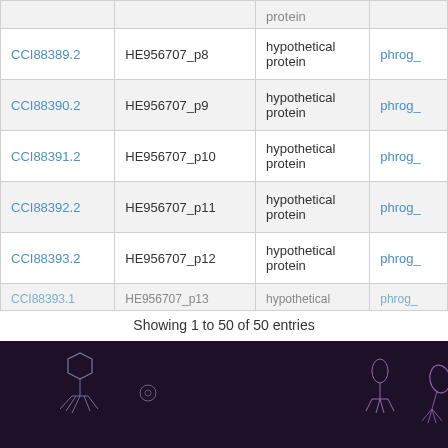| Accession | Locus Tag | Product | PHROG |
| --- | --- | --- | --- |
| CCI88389.2 | HE956707_p8 | hypothetical protein | phrog_ |
| CCI88390.2 | HE956707_p9 | hypothetical protein | phrog_ |
| CCI88391.2 | HE956707_p10 | hypothetical protein | phrog_ |
| CCI88392.2 | HE956707_p11 | hypothetical protein | phrog_ |
| CCI88393.2 | HE956707_p12 | hypothetical protein | phrog_ |
| CCI88393.1 (partial) | HE956707_p13 (partial) | hypothetical (partial) | phrog_ (partial) |
Showing 1 to 50 of 50 entries
[Figure (illustration): Dark purple footer banner showing outline illustrations of bacteriophages (phage particles) in white/light purple lines against a dark background]